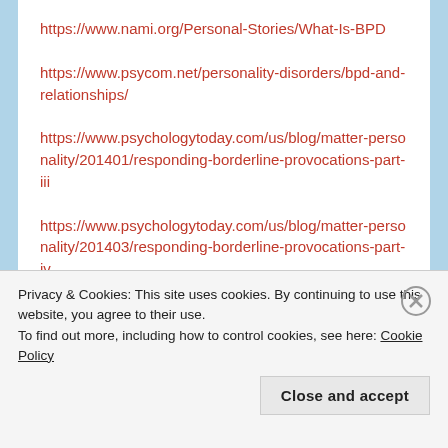https://www.nami.org/Personal-Stories/What-Is-BPD
https://www.psycom.net/personality-disorders/bpd-and-relationships/
https://www.psychologytoday.com/us/blog/matter-personality/201401/responding-borderline-provocations-part-iii
https://www.psychologytoday.com/us/blog/matter-personality/201403/responding-borderline-provocations-part-iv
https://www.psychologytoday.com/us/blog/matter-personality/201403/responding-borderline-provocations-
Privacy & Cookies: This site uses cookies. By continuing to use this website, you agree to their use.
To find out more, including how to control cookies, see here: Cookie Policy
Close and accept